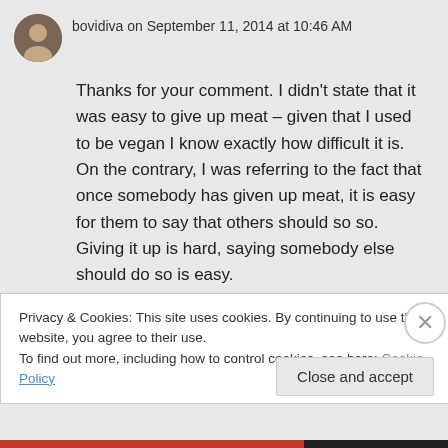bovidiva on September 11, 2014 at 10:46 AM
Thanks for your comment. I didn't state that it was easy to give up meat – given that I used to be vegan I know exactly how difficult it is. On the contrary, I was referring to the fact that once somebody has given up meat, it is easy for them to say that others should so so. Giving it up is hard, saying somebody else should do so is easy.
Privacy & Cookies: This site uses cookies. By continuing to use this website, you agree to their use.
To find out more, including how to control cookies, see here: Cookie Policy